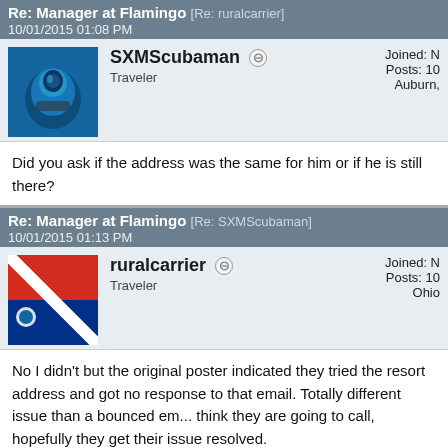Re: Manager at Flamingo [Re: ruralcarrier]
10/01/2015 01:08 PM
SXMScubaman ⊖
Traveler
Joined: N
Posts: 10
Auburn,
Did you ask if the address was the same for him or if he is still there?
Re: Manager at Flamingo [Re: SXMScubaman]
10/01/2015 01:13 PM
ruralcarrier ⊖
Traveler
Joined: N
Posts: 10
Ohio
No I didn't but the original poster indicated they tried the resort address and got no response to that email. Totally different issue than a bounced em... think they are going to call, hopefully they get their issue resolved.

Did you personally try the email address today?